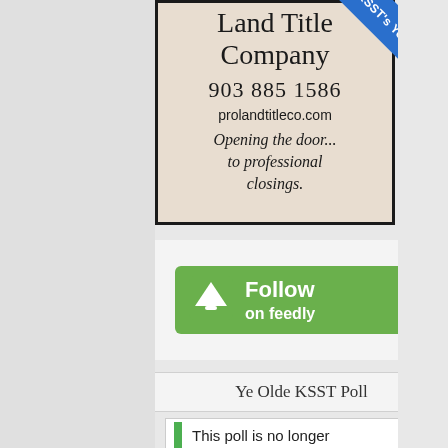[Figure (other): Advertisement for Pro Land Title Company with beige background, showing company name (Land Title Company), phone number 903 885 1586, website prolandtitleco.com, and tagline 'Opening the door... to professional closings.' A blue diagonal ribbon banner in the top-right corner reads KSST's YouTube Channel.]
[Figure (logo): Green Follow on Feedly button with Feedly diamond icon on the left and text 'Follow on feedly' in white.]
Ye Olde KSST Poll
This poll is no longer